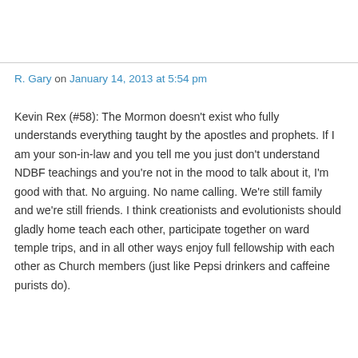R. Gary on January 14, 2013 at 5:54 pm
Kevin Rex (#58): The Mormon doesn't exist who fully understands everything taught by the apostles and prophets. If I am your son-in-law and you tell me you just don't understand NDBF teachings and you're not in the mood to talk about it, I'm good with that. No arguing. No name calling. We're still family and we're still friends. I think creationists and evolutionists should gladly home teach each other, participate together on ward temple trips, and in all other ways enjoy full fellowship with each other as Church members (just like Pepsi drinkers and caffeine purists do).